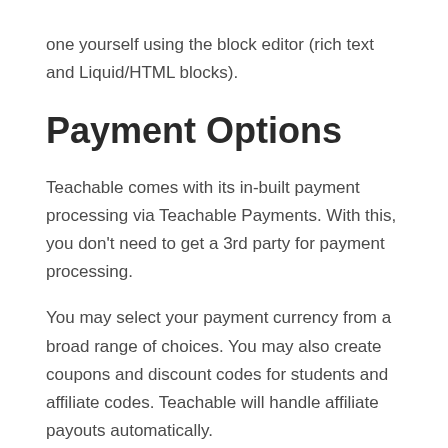one yourself using the block editor (rich text and Liquid/HTML blocks).
Payment Options
Teachable comes with its in-built payment processing via Teachable Payments. With this, you don't need to get a 3rd party for payment processing.
You may select your payment currency from a broad range of choices. You may also create coupons and discount codes for students and affiliate codes. Teachable will handle affiliate payouts automatically.
Teachable has options like Stripe and PayPal and advanced payment options like Visa and Mastercard.
Your pupils can pay by credit card, debit card, PayPal, Apple Pay,